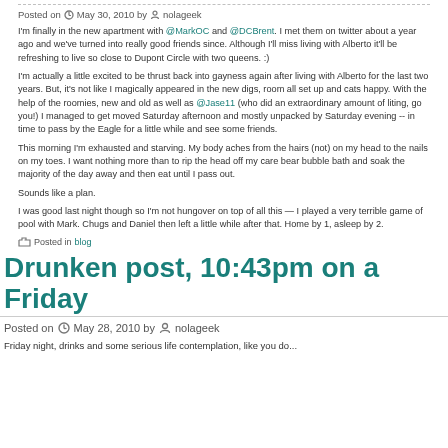Posted on  May 30, 2010 by  nolageek
I'm finally in the new apartment with @MarkOC and @DCBrent. I met them on twitter about a year ago and we've turned into really good friends since. Although I'll miss living with Alberto it'll be refreshing to live so close to Dupont Circle with two queens. :)
I'm actually a little excited to be thrust back into gayness again after living with Alberto for the last two years. But, it's not like I magically appeared in the new digs, room all set up and cats happy. With the help of the roomies, new and old as well as @Jase11 (who did an extraordinary amount of liting, go you!) I managed to get moved Saturday afternoon and mostly unpacked by Saturday evening -- in time to pass by the Eagle for a little while and see some friends.
This morning I'm exhausted and starving. My body aches from the hairs (not) on my head to the nails on my toes. I want nothing more than to rip the head off my care bear bubble bath and soak the majority of the day away and then eat until I pass out.
Sounds like a plan.
I was good last night though so I'm not hungover on top of all this — I played a very terrible game of pool with Mark. Chugs and Daniel then left a little while after that. Home by 1, asleep by 2.
Posted in blog
Drunken post, 10:43pm on a Friday
Posted on  May 28, 2010 by  nolageek
Friday night, drinks and some serious life contemplation, like you do...